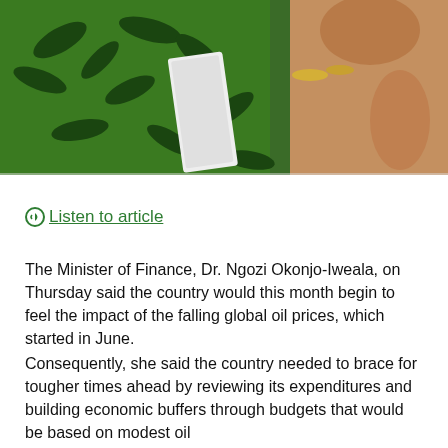[Figure (photo): Photo of Dr. Ngozi Okonjo-Iweala wearing a green patterned outfit with beaded necklace, holding something white, partial view cropped at top of page]
🎧 Listen to article
The Minister of Finance, Dr. Ngozi Okonjo-Iweala, on Thursday said the country would this month begin to feel the impact of the falling global oil prices, which started in June.
Consequently, she said the country needed to brace for tougher times ahead by reviewing its expenditures and building economic buffers through budgets that would be based on modest oil